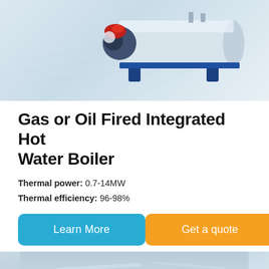[Figure (photo): Gas or oil fired integrated hot water boiler product photo on a light grid background. Industrial cylindrical boiler with blue frame and red-black burner assembly on the left end.]
Gas or Oil Fired Integrated Hot Water Boiler
Thermal power: 0.7-14MW
Thermal efficiency: 96-98%
Learn More
Get a quote
[Figure (photo): Industrial boiler or pressure vessel product photo on a light blue sky gradient background, showing a large cylindrical vessel with blue metal framework, stairs and platform structure.]